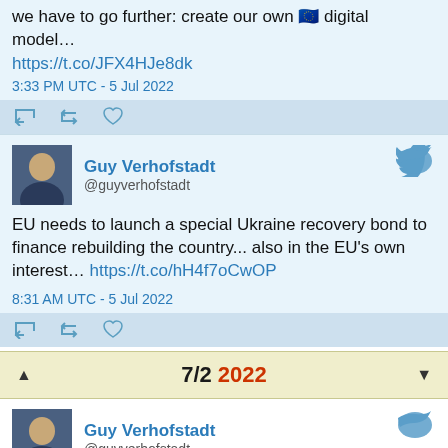we have to go further: create our own 🇪🇺 digital model…
https://t.co/JFX4HJe8dk
3:33 PM UTC - 5 Jul 2022
[Figure (screenshot): Tweet action icons: reply, retweet, like]
[Figure (photo): Avatar photo of Guy Verhofstadt]
Guy Verhofstadt @guyverhofstadt
EU needs to launch a special Ukraine recovery bond to finance rebuilding the country... also in the EU's own interest…  https://t.co/hH4f7oCwOP
8:31 AM UTC - 5 Jul 2022
[Figure (screenshot): Tweet action icons: reply, retweet, like]
7/2 2022
[Figure (photo): Avatar photo of Guy Verhofstadt]
Guy Verhofstadt @guyverhofstadt
This is what Brexiteers have achieved: fragmenting the democratic world, then destroying its credibility... The geo…
https://t.co/rHqmERqxnC